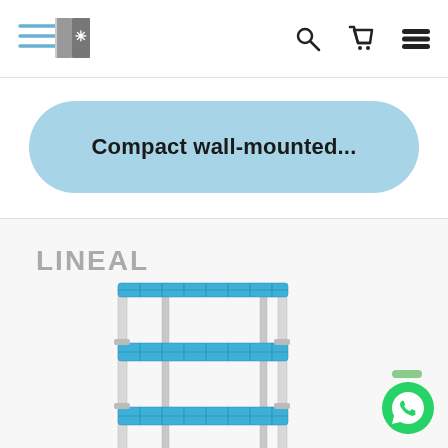Navigation bar with logo, search, cart, and menu icons
Compact wall-mounted...
LINEAL
[Figure (photo): A 4-shelf blue polymer shelving unit with white metal frame posts (LINEAL product)]